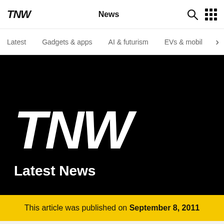TNW  News
Latest
Gadgets & apps
AI & futurism
EVs & mobil
[Figure (logo): TNW large white logo on black background hero section with 'Latest News' subtitle]
This article was published on September 8, 2011